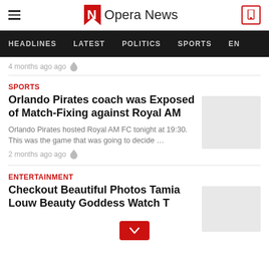Opera News
HEADLINES   LATEST   POLITICS   SPORTS   EN...
4 months ago ago
SPORTS
Orlando Pirates coach was Exposed of Match-Fixing against Royal AM
Orlando Pirates hosted Royal AM FC tonight at 19:30. This was the game that was going to decide …
2 months ago ago
ENTERTAINMENT
Checkout Beautiful Photos Tamia Louw Beauty Goddess Watch T